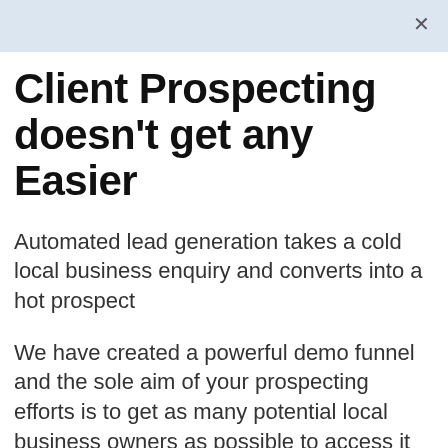Client Prospecting doesn't get any Easier
Automated lead generation takes a cold local business enquiry and converts into a hot prospect
We have created a powerful demo funnel and the sole aim of your prospecting efforts is to get as many potential local business owners as possible to access it and join the VIP Club in real time